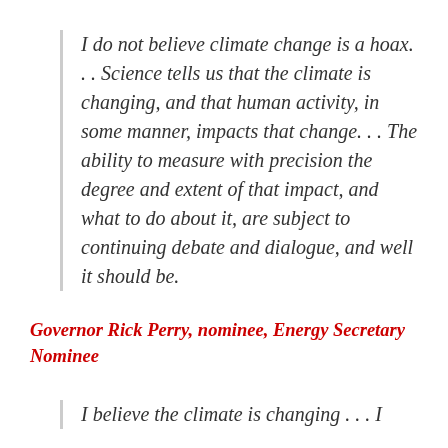I do not believe climate change is a hoax. . . Science tells us that the climate is changing, and that human activity, in some manner, impacts that change. . . The ability to measure with precision the degree and extent of that impact, and what to do about it, are subject to continuing debate and dialogue, and well it should be.
Governor Rick Perry, nominee, Energy Secretary Nominee
I believe the climate is changing . . . I